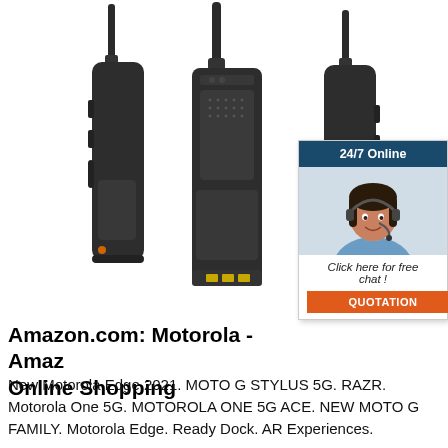[Figure (photo): Three walkie-talkie radios shown from different angles (left side, front, and right side) against a white background. Black handheld two-way radios with antennas extended upward and gold battery contacts visible on the bottom of the center unit.]
[Figure (infographic): Customer service chat widget overlay in top-right of product image. Dark teal header reading '24/7 Online', photo of smiling female customer service agent wearing headset/microphone, text 'Click here for free chat!', and orange button labeled 'QUOTATION'.]
Amazon.com: Motorola - Amazon Online Shopping
New Motorola Edge 2021. MOTO G STYLUS 5G. RAZR. Motorola One 5G. MOTOROLA ONE 5G ACE. NEW MOTO G FAMILY. Motorola Edge. Ready Dock. AR Experiences.